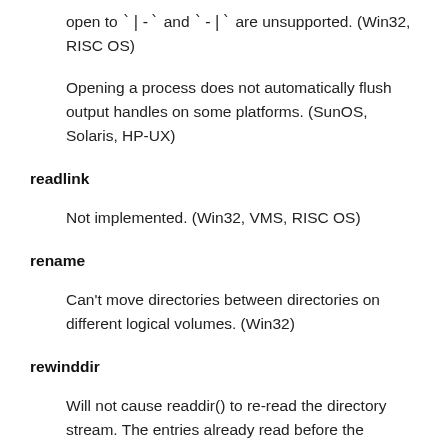open to `|-` and `-|` are unsupported. (Win32, RISC OS)
Opening a process does not automatically flush output handles on some platforms. (SunOS, Solaris, HP-UX)
readlink
Not implemented. (Win32, VMS, RISC OS)
rename
Can't move directories between directories on different logical volumes. (Win32)
rewinddir
Will not cause readdir() to re-read the directory stream. The entries already read before the rewinddir() call will just be returned again from a cache buffer. (Win32)
select